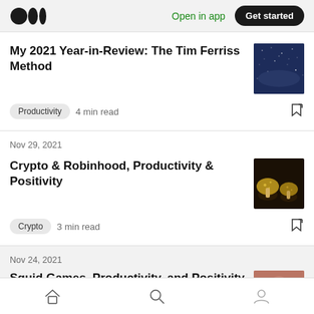Medium app header with logo, Open in app link, and Get started button
My 2021 Year-in-Review: The Tim Ferriss Method
Productivity  4 min read
Nov 29, 2021
Crypto & Robinhood, Productivity & Positivity
Crypto  3 min read
Nov 24, 2021
Squid Games, Productivity, and Positivity
Home Search Profile navigation